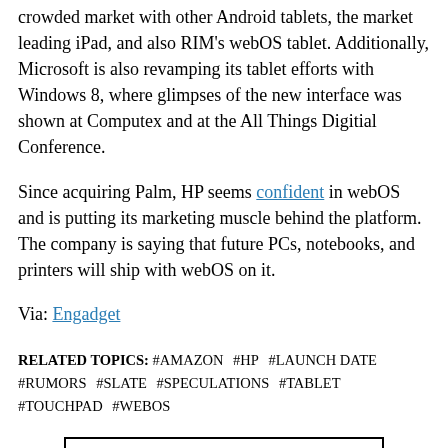crowded market with other Android tablets, the market leading iPad, and also RIM's webOS tablet. Additionally, Microsoft is also revamping its tablet efforts with Windows 8, where glimpses of the new interface was shown at Computex and at the All Things Digitial Conference.
Since acquiring Palm, HP seems confident in webOS and is putting its marketing muscle behind the platform. The company is saying that future PCs, notebooks, and printers will ship with webOS on it.
Via: Engadget
RELATED TOPICS: #AMAZON #HP #LAUNCH DATE #RUMORS #SLATE #SPECULATIONS #TABLET #TOUCHPAD #WEBOS
1 COMMENT